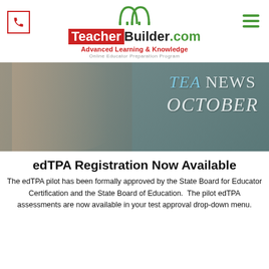[Figure (logo): TeacherBuilder.com logo with phone icon, hamburger menu, green arch icon, red Teacher badge, bold Builder.com text, red tagline Advanced Learning & Knowledge, gray subtitle Online Educator Preparation Program]
[Figure (photo): Young woman holding books in front of a chalkboard with text 'TEA NEWS OCTOBER' written on it]
edTPA Registration Now Available
The edTPA pilot has been formally approved by the State Board for Educator Certification and the State Board of Education.  The pilot edTPA assessments are now available in your test approval drop-down menu.